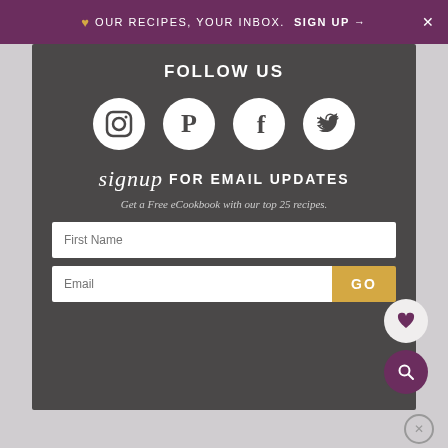♥ OUR RECIPES, YOUR INBOX. SIGN UP → ×
FOLLOW US
[Figure (illustration): Four social media icons in white circles: Instagram, Pinterest, Facebook, Twitter]
signup FOR EMAIL UPDATES
Get a Free eCookbook with our top 25 recipes.
First Name
Email
GO